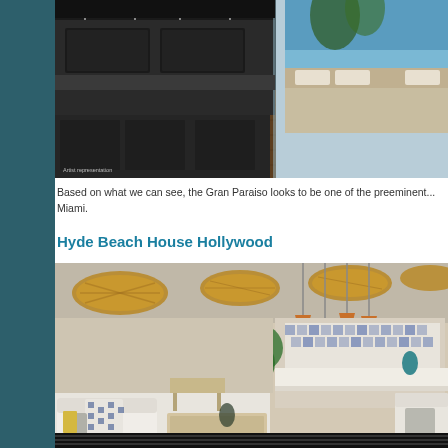[Figure (photo): Interior photo of a luxury condo showing dark kitchen/bathroom vanity with sinks and a bedroom area with hardwood floors and ocean view. Text overlay says 'Artist representation'.]
Based on what we can see, the Gran Paraiso looks to be one of the preeminent... Miami.
Hyde Beach House Hollywood
[Figure (photo): Interior photo of Hyde Beach House Hollywood showing an elegant lounge/bar area with wicker pendant lights, tropical plants, white sofas with blue patterned pillows, copper pendant lamps over a bar counter with patterned tile backsplash.]